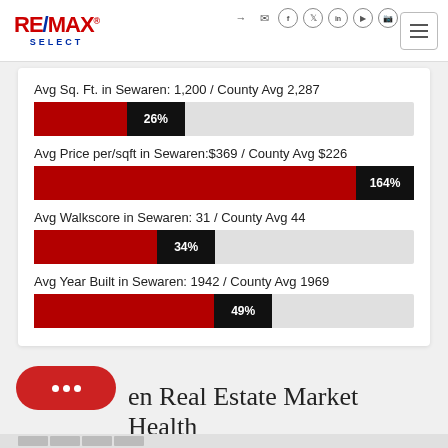[Figure (logo): RE/MAX SELECT logo in red and blue]
Avg Sq. Ft. in Sewaren: 1,200 / County Avg 2,287
[Figure (bar-chart): Avg Sq. Ft. bar]
Avg Price per/sqft in Sewaren:$369 / County Avg $226
[Figure (bar-chart): Avg Price per/sqft bar]
Avg Walkscore in Sewaren: 31 / County Avg 44
[Figure (bar-chart): Avg Walkscore bar]
Avg Year Built in Sewaren: 1942 / County Avg 1969
[Figure (bar-chart): Avg Year Built bar]
en Real Estate Market Health